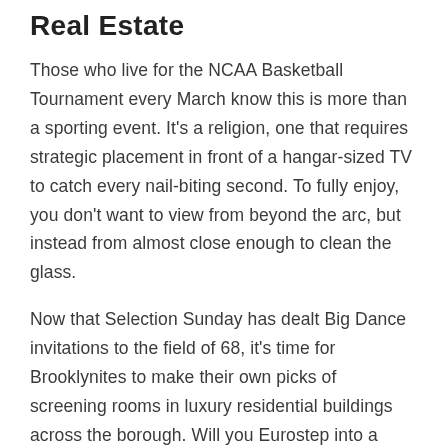Real Estate
Those who live for the NCAA Basketball Tournament every March know this is more than a sporting event. It's a religion, one that requires strategic placement in front of a hangar-sized TV to catch every nail-biting second. To fully enjoy, you don't want to view from beyond the arc, but instead from almost close enough to clean the glass.
Now that Selection Sunday has dealt Big Dance invitations to the field of 68, it's time for Brooklynites to make their own picks of screening rooms in luxury residential buildings across the borough. Will you Eurostep into a posh big-screened setting in Prospect Park? Fast break toward a voguish viewing room in Fort Greene? Or pick and roll in the direction of a resident lounge within a luxury building in Williamsburg?